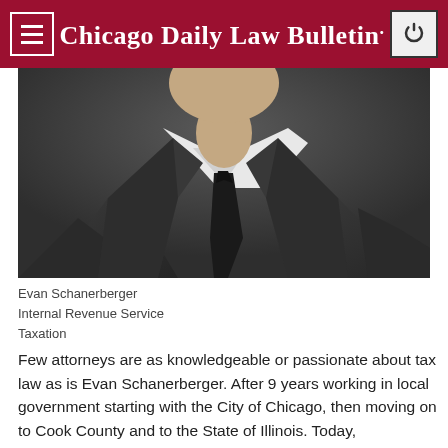Chicago Daily Law Bulletin
[Figure (photo): Professional headshot of Evan Schanerberger wearing a dark suit, white dress shirt, and black tie against a dark gray background. The photo is cropped at the chin/neck level showing the chest and lower face area.]
Evan Schanerberger
Internal Revenue Service
Taxation
Few attorneys are as knowledgeable or passionate about tax law as is Evan Schanerberger. After 9 years working in local government starting with the City of Chicago, then moving on to Cook County and to the State of Illinois. Today, Schanerberger is an international tax law specialist with the Internal Revenue Service, where he administers tax treaties on international tax reporting.